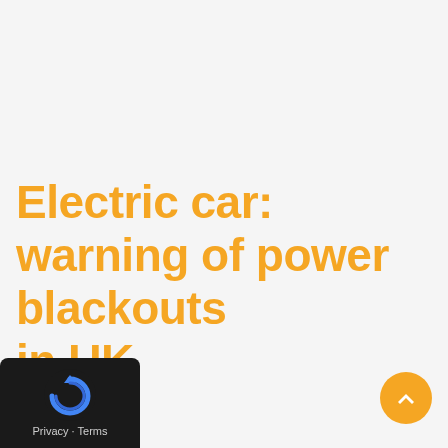Electric car: warning of power blackouts in UK
[Figure (logo): Google reCAPTCHA privacy badge with circular arrow icon in blue, labeled Privacy - Terms on dark background]
[Figure (other): Orange circular scroll-to-top button with upward chevron arrow]